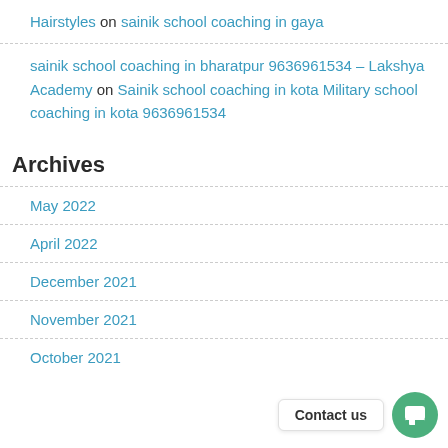Hairstyles on sainik school coaching in gaya
sainik school coaching in bharatpur 9636961534 – Lakshya Academy on Sainik school coaching in kota Military school coaching in kota 9636961534
Archives
May 2022
April 2022
December 2021
November 2021
October 2021
Contact us